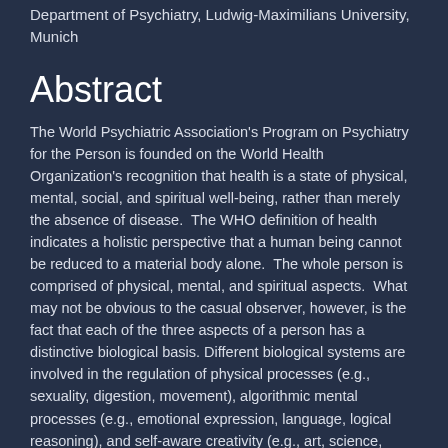Department of Psychiatry, Ludwig-Maximilians University, Munich
Abstract
The World Psychiatric Association's Program on Psychiatry for the Person is founded on the World Health Organization's recognition that health is a state of physical, mental, social, and spiritual well-being, rather than merely the absence of disease.  The WHO definition of health indicates a holistic perspective that a human being cannot be reduced to a material body alone.  The whole person is comprised of physical, mental, and spiritual aspects.  What may not be obvious to the casual observer, however, is the fact that each of the three aspects of a person has a distinctive biological basis.  Different biological systems are involved in the regulation of physical processes (e.g., sexuality, digestion, movement), algorithmic mental processes (e.g., emotional expression, language, logical reasoning), and self-aware creativity (e.g., art, science, spirituality). Measures of